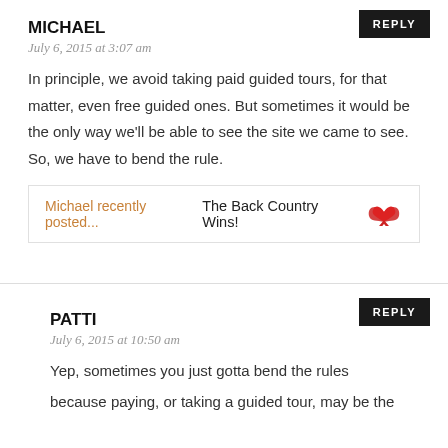REPLY
MICHAEL
July 6, 2015 at 3:07 am
In principle, we avoid taking paid guided tours, for that matter, even free guided ones. But sometimes it would be the only way we'll be able to see the site we came to see. So, we have to bend the rule.
Michael recently posted...The Back Country Wins!
REPLY
PATTI
July 6, 2015 at 10:50 am
Yep, sometimes you just gotta bend the rules
because paying, or taking a guided tour, may be the